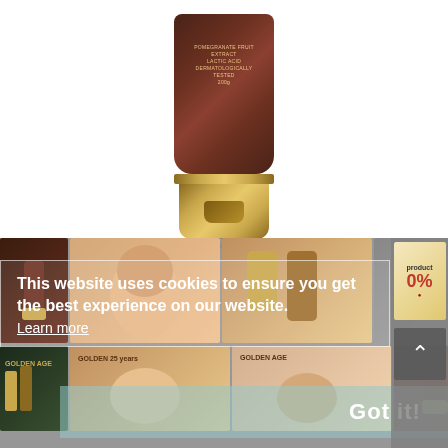[Figure (photo): A cosmetic tube product with dark brown/maroon body and gold cap, labeled with POMEGRANATE FRUIT EXTRACT, LACTIC ACID, DERMATOLOGICALLY TESTED, 200g]
This website uses cookies to ensure you get the best experience on our website.
Learn more
[Figure (photo): Grid of product thumbnails showing Golden Age skincare product line images, including product bottles, face creams, and a model]
0%
Got it!